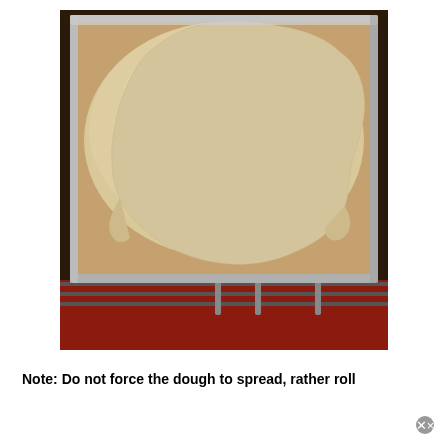[Figure (photo): A large baking sheet / sheet pan lined with parchment paper, holding a thin round of rolled-out pale beige dough with irregular, raggedy edges. The pan is resting on a wire cooling rack. The background shows a red cloth or towel beneath the rack.]
Note: Do not force the dough to spread, rather roll